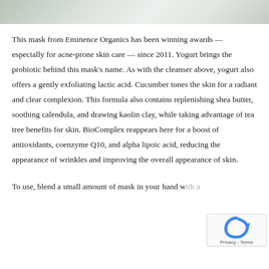[Figure (photo): Partial photo strip at the top of the page showing what appears to be a cosmetic product or white objects on a light background]
This mask from Eminence Organics has been winning awards — especially for acne-prone skin care — since 2011. Yogurt brings the probiotic behind this mask's name. As with the cleanser above, yogurt also offers a gently exfoliating lactic acid. Cucumber tones the skin for a radiant and clear complexion. This formula also contains replenishing shea butter, soothing calendula, and drawing kaolin clay, while taking advantage of tea tree benefits for skin. BioComplex reappears here for a boost of antioxidants, coenzyme Q10, and alpha lipoic acid, reducing the appearance of wrinkles and improving the overall appearance of skin.
To use, blend a small amount of mask in your hand w…